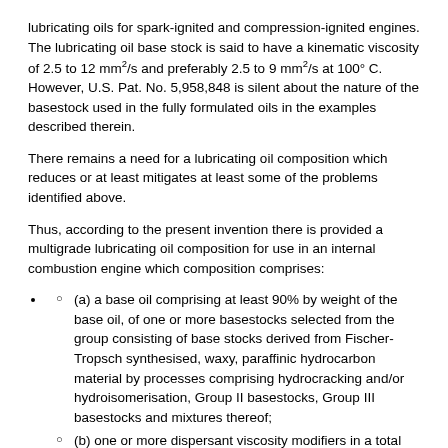lubricating oils for spark-ignited and compression-ignited engines. The lubricating oil base stock is said to have a kinematic viscosity of 2.5 to 12 mm²/s and preferably 2.5 to 9 mm²/s at 100° C. However, U.S. Pat. No. 5,958,848 is silent about the nature of the basestock used in the fully formulated oils in the examples described therein.
There remains a need for a lubricating oil composition which reduces or at least mitigates at least some of the problems identified above.
Thus, according to the present invention there is provided a multigrade lubricating oil composition for use in an internal combustion engine which composition comprises:
(a) a base oil comprising at least 90% by weight of the base oil, of one or more basestocks selected from the group consisting of base stocks derived from Fischer-Tropsch synthesised, waxy, paraffinic hydrocarbon material by processes comprising hydrocracking and/or hydroisomerisation, Group II basestocks, Group III basestocks and mixtures thereof;
(b) one or more dispersant viscosity modifiers in a total amount of 0.15 to 0.8% by weight of the composition;
(c) one or more dispersants in a total amount of active dispersants of 1.5 to 3% by weight of the composition;
(d) one or more detergents; and